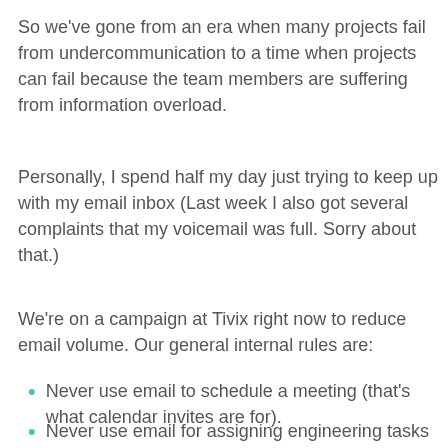So we've gone from an era when many projects fail from undercommunication to a time when projects can fail because the team members are suffering from information overload.
Personally, I spend half my day just trying to keep up with my email inbox (Last week I also got several complaints that my voicemail was full. Sorry about that.)
We're on a campaign at Tivix right now to reduce email volume. Our general internal rules are:
Never use email to schedule a meeting (that's what calendar invites are for).
Never use email for assigning engineering tasks (that's what PivotalTracker is for).